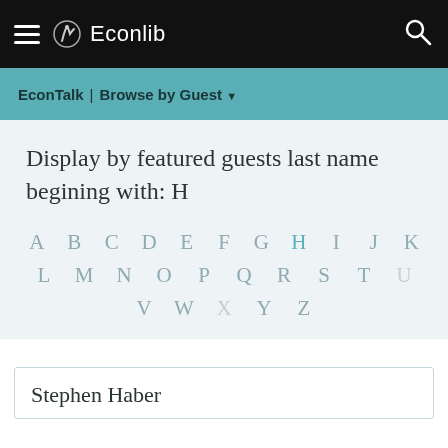Econlib
EconTalk | Browse by Guest ▼
Display by featured guests last name begining with: H
A B C D E F G H I J K L M N O P Q R S T U V W X Y Z
Stephen Haber